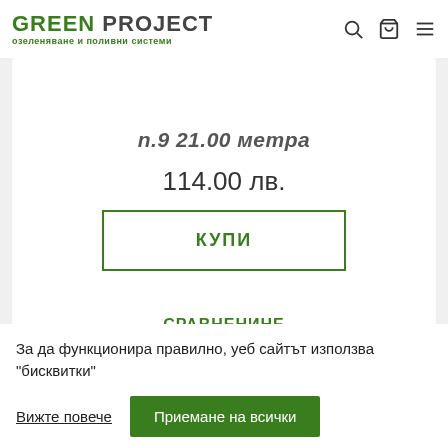GREEN PROJECT — озеленяване и поливни системи
п.9 21.00 метра
114.00 лв.
КУПИ
СРАВНЕНИНЕ
За да функционира правилно, уеб сайтът използва "бисквитки"
Вижте повече
Приемане на всички